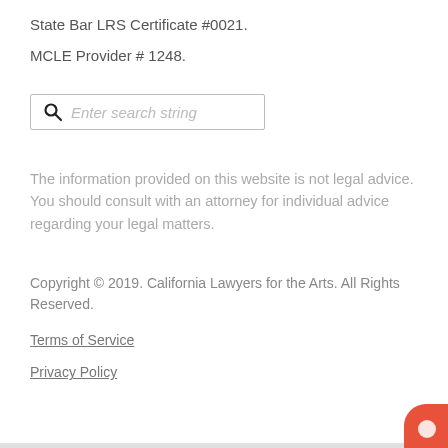State Bar LRS Certificate #0021.
MCLE Provider # 1248.
[Figure (other): Search input box with magnifying glass icon and placeholder text 'Enter search string']
The information provided on this website is not legal advice. You should consult with an attorney for individual advice regarding your legal matters.
Copyright © 2019. California Lawyers for the Arts. All Rights Reserved.
Terms of Service
Privacy Policy